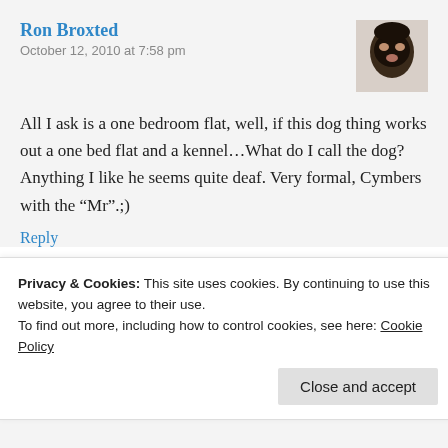Ron Broxted
October 12, 2010 at 7:58 pm
[Figure (photo): Avatar of Ron Broxted: person wearing a black mask]
All I ask is a one bedroom flat, well, if this dog thing works out a one bed flat and a kennel…What do I call the dog? Anything I like he seems quite deaf. Very formal, Cymbers with the “Mr”.;)
Reply
Cymbeline
October 12, 2010 at 7:27 pm
[Figure (photo): Avatar of Cymbeline: pixel art style icon on dark purple background]
Privacy & Cookies: This site uses cookies. By continuing to use this website, you agree to their use.
To find out more, including how to control cookies, see here: Cookie Policy
Close and accept